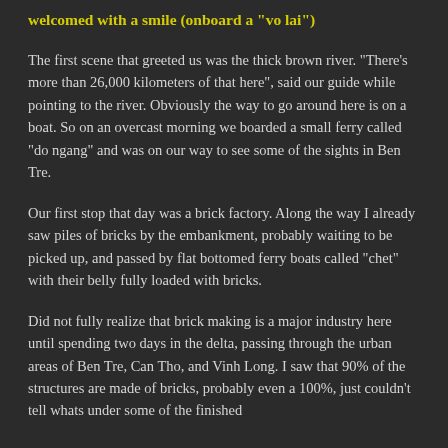welcomed with a smile (onboard a "vo lai")
The first scene that greeted us was the thick brown river. "There's more than 26,000 kilometers of that here", said our guide while pointing to the river. Obviously the way to go around here is on a boat. So on an overcast morning we boarded a small ferry called "do ngang" and was on our way to see some of the sights in Ben Tre.
Our first stop that day was a brick factory. Along the way I already saw piles of bricks by the embankment, probably waiting to be picked up, and passed by flat bottomed ferry boats called "chet" with their belly fully loaded with bricks.
Did not fully realize that brick making is a major industry here until spending two days in the delta, passing through the urban areas of Ben Tre, Can Tho, and Vinh Long. I saw that 90% of the structures are made of bricks, probably even a 100%, just couldn't tell whats under some of the finished